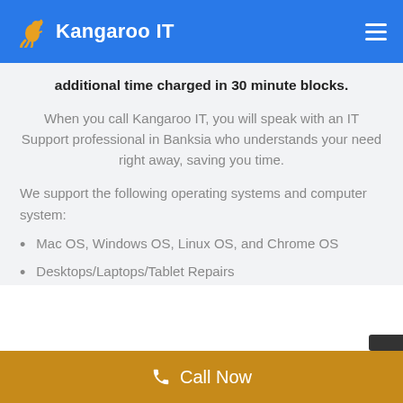Kangaroo IT
additional time charged in 30 minute blocks.
When you call Kangaroo IT, you will speak with an IT Support professional in Banksia who understands your need right away, saving you time.
We support the following operating systems and computer system:
Mac OS, Windows OS, Linux OS, and Chrome OS
Desktops/Laptops/Tablet Repairs
Call Now